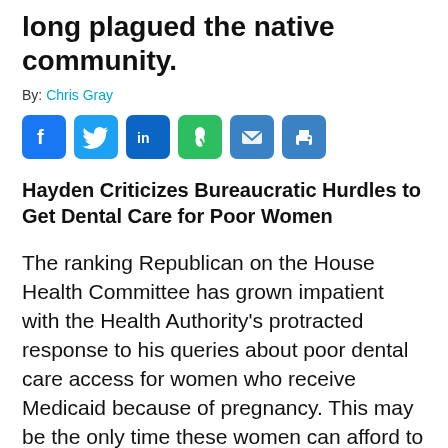long plagued the native community.
By: Chris Gray
[Figure (other): Social media sharing icons: Facebook, Twitter, LinkedIn, Evernote, Email, Print]
Hayden Criticizes Bureaucratic Hurdles to Get Dental Care for Poor Women
The ranking Republican on the House Health Committee has grown impatient with the Health Authority's protracted response to his queries about poor dental care access for women who receive Medicaid because of pregnancy. This may be the only time these women can afford to see a dentist, and fix oral